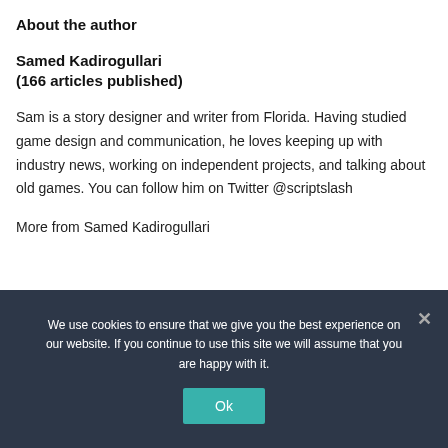About the author
Samed Kadirogullari
(166 articles published)
Sam is a story designer and writer from Florida. Having studied game design and communication, he loves keeping up with industry news, working on independent projects, and talking about old games. You can follow him on Twitter @scriptslash
More from Samed Kadirogullari
We use cookies to ensure that we give you the best experience on our website. If you continue to use this site we will assume that you are happy with it.